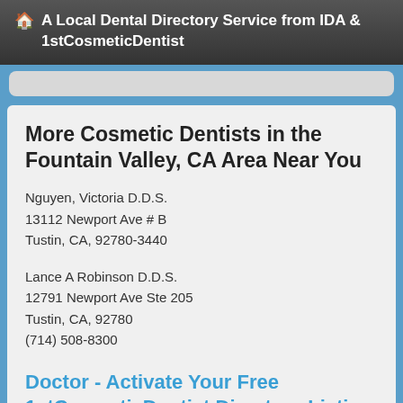🏠 A Local Dental Directory Service from IDA & 1stCosmeticDentist
More Cosmetic Dentists in the Fountain Valley, CA Area Near You
Nguyen, Victoria D.D.S.
13112 Newport Ave # B
Tustin, CA, 92780-3440
Lance A Robinson D.D.S.
12791 Newport Ave Ste 205
Tustin, CA, 92780
(714) 508-8300
Doctor - Activate Your Free 1stCosmeticDentist Directory Listing
Mehta, Chetan K D.D.S.
13372 Newport Ave # C
Tustin, CA, 92780-3426